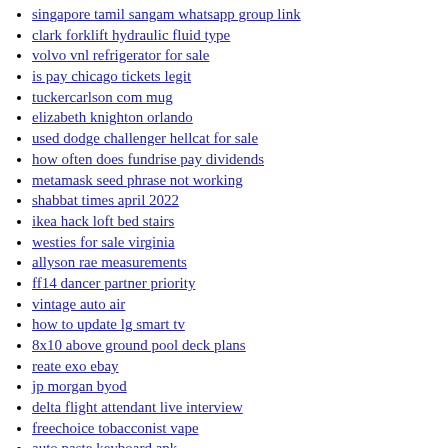singapore tamil sangam whatsapp group link
clark forklift hydraulic fluid type
volvo vnl refrigerator for sale
is pay chicago tickets legit
tuckercarlson com mug
elizabeth knighton orlando
used dodge challenger hellcat for sale
how often does fundrise pay dividends
metamask seed phrase not working
shabbat times april 2022
ikea hack loft bed stairs
westies for sale virginia
allyson rae measurements
ff14 dancer partner priority
vintage auto air
how to update lg smart tv
8x10 above ground pool deck plans
reate exo ebay
jp morgan byod
delta flight attendant live interview
freechoice tobacconist vape
auto paste keyboard apk
how to turn off 5g on motorola one 5g
5 of swords emperor
dhs 1252 form hawaii